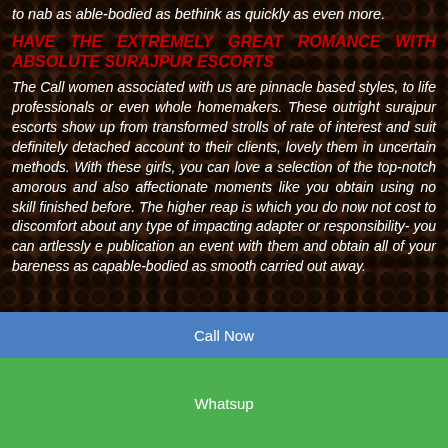to nab as able-bodied as bethink as quickly as even more.
HAVE THE EXTREMELY GREAT ROMANCE WITH ABSOLUTE SURAJPUR ESCORTS
The Call women associated with us are pinnacle based styles, to life professionals or even whole homemakers. These outright surajpur escorts show up from transformed strolls of rate of interest and suit definitely detached account to their clients, lovely them in uncertain methods. With these girls, you can love a selection of the top-notch amorous and also affectionate moments like you obtain using no skill finished before. The higher reap is which you do now not cost to discomfort about any type of impacting adapter or responsibility- you can artlessly e publication an event with them and obtain all of your bareness as capable-bodied as smooth carried out away.
ATTRACTIVE STRIPTEASE FOR BACHELOR
Call Now
Whatsup